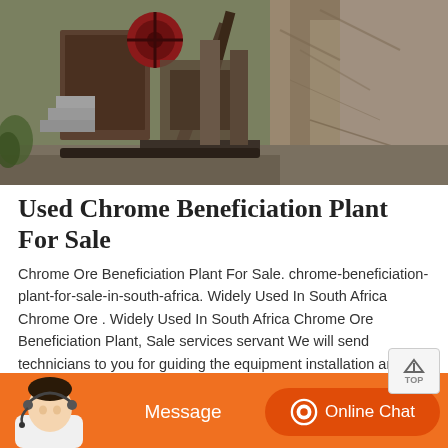[Figure (photo): Outdoor photo of industrial mining/crushing machinery with stone steps on the left, large metal equipment in the center, and rock face/cliff on the right side. Taken at a quarry or mining site.]
Used Chrome Beneficiation Plant For Sale
Chrome Ore Beneficiation Plant For Sale. chrome-beneficiation-plant-for-sale-in-south-africa. Widely Used In South Africa Chrome Ore . Widely Used In South Africa Chrome Ore Beneficiation Plant, Sale services servant We will send technicians to you for guiding the equipment installation and. Contact Supplier. Get Detail